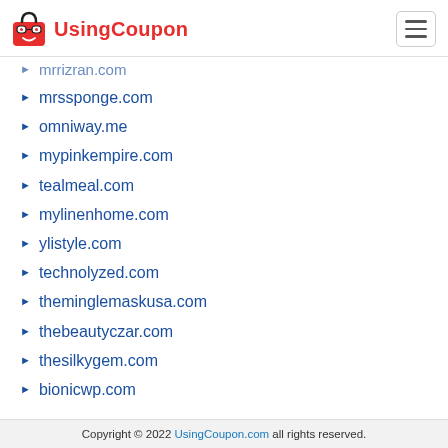UsingCoupon
mrrizran.com
mrssponge.com
omniway.me
mypinkempire.com
tealmeal.com
mylinenhome.com
ylistyle.com
technolyzed.com
theminglemaskusa.com
thebeautyczar.com
thesilkygem.com
bionicwp.com
Copyright © 2022 UsingCoupon.com all rights reserved.